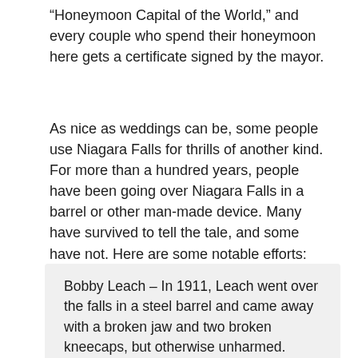“Honeymoon Capital of the World,” and every couple who spend their honeymoon here gets a certificate signed by the mayor.
As nice as weddings can be, some people use Niagara Falls for thrills of another kind. For more than a hundred years, people have been going over Niagara Falls in a barrel or other man-made device. Many have survived to tell the tale, and some have not. Here are some notable efforts:
Bobby Leach – In 1911, Leach went over the falls in a steel barrel and came away with a broken jaw and two broken kneecaps, but otherwise unharmed. Years later, he would die from gangrene after slipping on an orange peel.